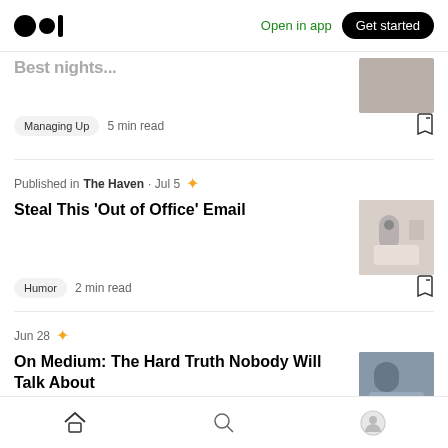Medium logo | Open in app | Get started
Best nights...
Managing Up · 5 min read
Published in The Haven · Jul 5
Steal This 'Out of Office' Email
Humor · 2 min read
Jun 28
On Medium: The Hard Truth Nobody Will Talk About
Writing On Medium · 4 min read
Home | Search | Profile